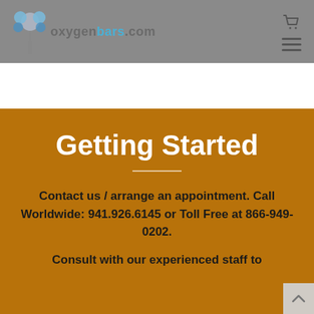oxygenbars.com
Getting Started
Contact us / arrange an appointment. Call Worldwide: 941.926.6145 or ​Toll Free at 866-949-0202.
Consult with our experienced staff to